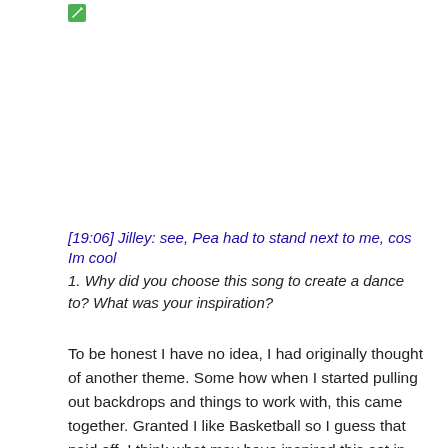[Figure (logo): Small green pencil/edit icon in top left area]
[19:06] Jilley: see, Pea had to stand next to me, cos Im cool
1. Why did you choose this song to create a dance to? What was your inspiration?
To be honest I have no idea, I had originally thought of another theme. Some how when I started pulling out backdrops and things to work with, this came together. Granted I like Basketball so I guess that paid off. I think what may have inspired this set in the back of my mind was when I went to Vote, my place is in a school gym. Im thinking and positivity in a school old leaves me in